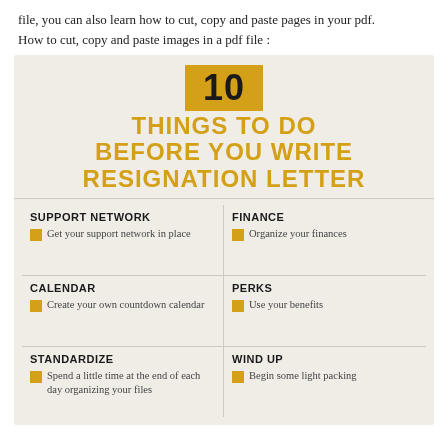file, you can also learn how to cut, copy and paste pages in your pdf. How to cut, copy and paste images in a pdf file :
[Figure (infographic): 10 Things to Do Before You Write Resignation Letter infographic with 6 categories: Support Network, Finance, Calendar, Perks, Standardize, Wind Up, each with a bullet point item.]
SUPPORT NETWORK — Get your support network in place
FINANCE — Organize your finances
CALENDAR — Create your own countdown calendar
PERKS — Use your benefits
STANDARDIZE — Spend a little time at the end of each day organizing your files
WIND UP — Begin some light packing